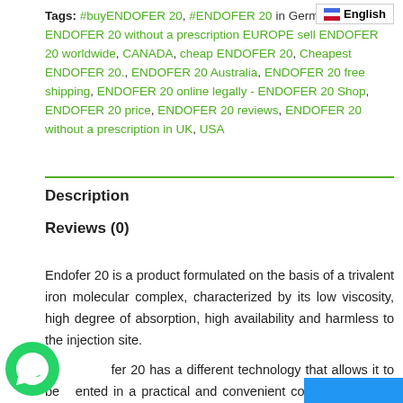Tags: #buyENDOFER 20, #ENDOFER 20 in Germany, buy ENDOFER 20 without a prescription EUROPE sell ENDOFER 20 worldwide, CANADA, cheap ENDOFER 20, Cheapest ENDOFER 20., ENDOFER 20 Australia, ENDOFER 20 free shipping, ENDOFER 20 online legally - ENDOFER 20 Shop, ENDOFER 20 price, ENDOFER 20 reviews, ENDOFER 20 without a prescription in UK, USA
Description
Reviews (0)
Endofer 20 is a product formulated on the basis of a trivalent iron molecular complex, characterized by its low viscosity, high degree of absorption, high availability and harmless to the injection site.
Endofer 20 has a different technology that allows it to be presented in a practical and convenient collapsible plastic container that favors its comp...